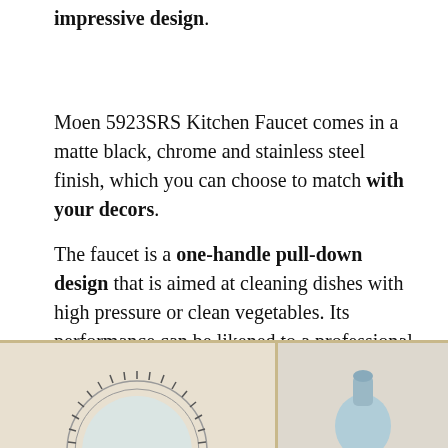impressive design.
Moen 5923SRS Kitchen Faucet comes in a matte black, chrome and stainless steel finish, which you can choose to match with your decors.
The faucet is a one-handle pull-down design that is aimed at cleaning dishes with high pressure or clean vegetables. Its performance can be likened to a professional faucet found in many restaurants.
[Figure (photo): Two framed photos side by side: left panel shows a circular gear/ring component against a light background; right panel shows a faucet head against a light blue background.]